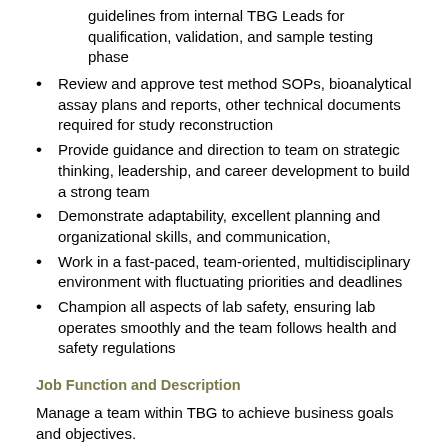guidelines from internal TBG Leads for qualification, validation, and sample testing phase
Review and approve test method SOPs, bioanalytical assay plans and reports, other technical documents required for study reconstruction
Provide guidance and direction to team on strategic thinking, leadership, and career development to build a strong team
Demonstrate adaptability, excellent planning and organizational skills, and communication,
Work in a fast-paced, team-oriented, multidisciplinary environment with fluctuating priorities and deadlines
Champion all aspects of lab safety, ensuring lab operates smoothly and the team follows health and safety regulations
Job Function and Description
Manage a team within TBG to achieve business goals and objectives.
Foster Spark's Culture.  Role model the Spark